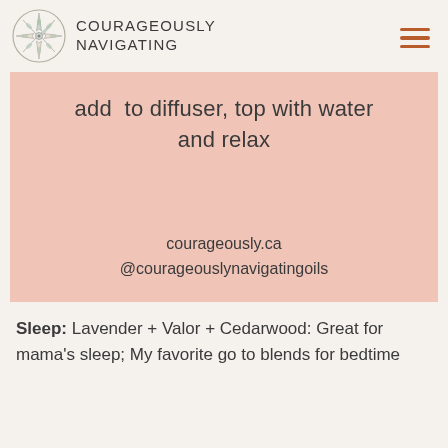COURAGEOUSLY NAVIGATING
add  to diffuser, top with water and relax
courageously.ca
@courageouslynavigatingoils
Sleep: Lavender + Valor + Cedarwood: Great for mama's sleep; My favorite go to blends for bedtime